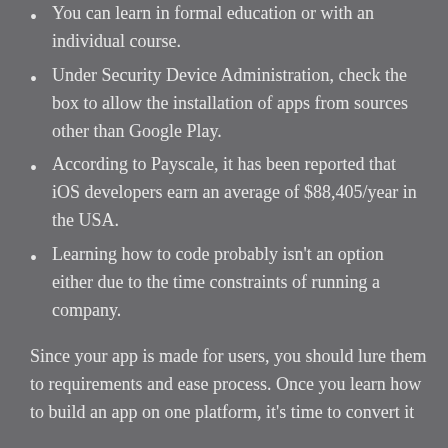You can learn in formal education or with an individual course.
Under Security Device Administration, check the box to allow the installation of apps from sources other than Google Play.
According to Payscale, it has been reported that iOS developers earn an average of $88,405/year in the USA.
Learning how to code probably isn't an option either due to the time constraints of running a company.
Since your app is made for users, you should lure them to requirements and ease process. Once you learn how to build an app on one platform, it's time to convert it